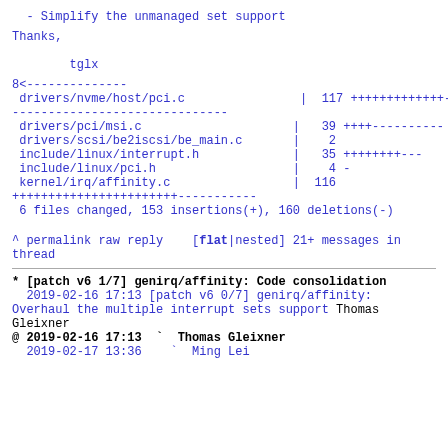- Simplify the unmanaged set support
Thanks,

        tglx
8<--------------
 drivers/nvme/host/pci.c                |  117 +++++++++++++--
------------------------------
 drivers/pci/msi.c                     |   39 ++++----------
 drivers/scsi/be2iscsi/be_main.c       |    2
 include/linux/interrupt.h             |   35 ++++++++---
 include/linux/pci.h                   |    4 -
 kernel/irq/affinity.c                 |  116
++++++++++++++++++++++-----------
 6 files changed, 153 insertions(+), 160 deletions(-)
^ permalink raw reply    [flat|nested] 21+ messages in thread
* [patch v6 1/7] genirq/affinity: Code consolidation
  2019-02-16 17:13 [patch v6 0/7] genirq/affinity: Overhaul the multiple interrupt sets support Thomas Gleixner
@ 2019-02-16 17:13  ` Thomas Gleixner
  2019-02-17 13:36     ` Ming Lei